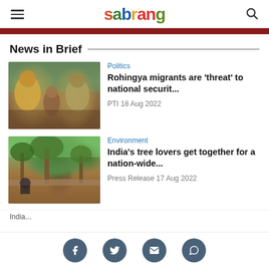sabrang
News in Brief
[Figure (photo): Rohingya refugees/migrants crowded together, wearing headscarves, earth tones]
Politics
Rohingya migrants are 'threat' to national securit...
PTI 18 Aug 2022
[Figure (photo): Park scene with large trees and a person sitting on a wall]
Environment
India's tree lovers get together for a nation-wide...
Press Release 17 Aug 2022
India...
Social sharing icons: Facebook, Twitter, Email, WhatsApp